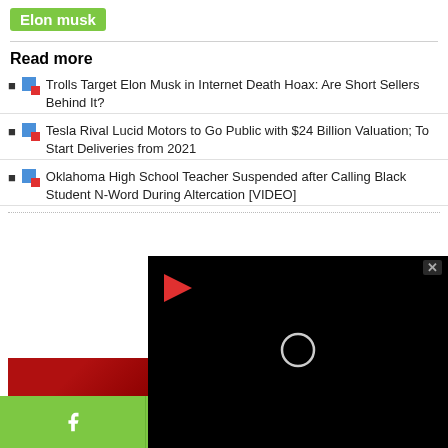Elon musk
Read more
Trolls Target Elon Musk in Internet Death Hoax: Are Short Sellers Behind It?
Tesla Rival Lucid Motors to Go Public with $24 Billion Valuation; To Start Deliveries from 2021
Oklahoma High School Teacher Suspended after Calling Black Student N-Word During Altercation [VIDEO]
[Figure (screenshot): Black video player overlay with a red play arrow icon top-left and a white circle spinner in the center, with a close X button in the top-right corner]
[Figure (photo): Dark red image thumbnail at bottom left]
Social sharing bar with Facebook, Twitter, and WhatsApp icons on green background